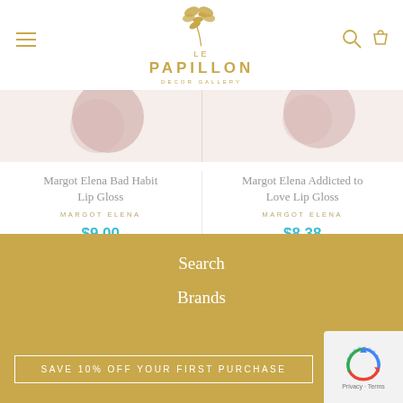[Figure (logo): Le Papillon Decor Gallery logo with golden butterfly and leaf motif]
Margot Elena Bad Habit Lip Gloss
MARGOT ELENA
$9.00
Margot Elena Addicted to Love Lip Gloss
MARGOT ELENA
$8.38
Search
Brands
SAVE 10% OFF YOUR FIRST PURCHASE